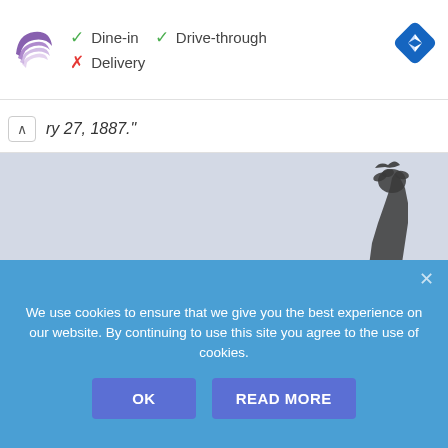[Figure (screenshot): Taco Bell logo - purple and white swirled bell shape]
✓ Dine-in  ✓ Drive-through  ✗ Delivery
[Figure (logo): Blue diamond navigation/directions icon with white arrow]
ry 27, 1887."
[Figure (photo): Statue arm raised upward holding something, against light grey sky background]
We use cookies to ensure that we give you the best experience on our website. By continuing to use this site you agree to the use of cookies.
OK
READ MORE